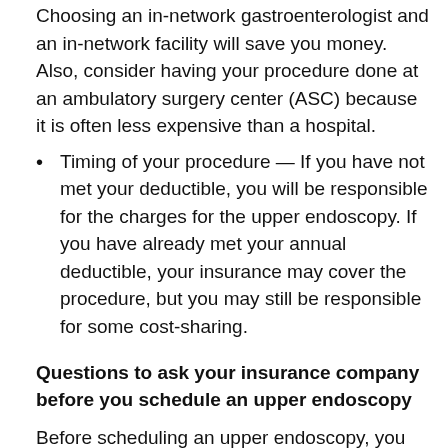Choosing an in-network gastroenterologist and an in-network facility will save you money. Also, consider having your procedure done at an ambulatory surgery center (ASC) because it is often less expensive than a hospital.
Timing of your procedure — If you have not met your deductible, you will be responsible for the charges for the upper endoscopy. If you have already met your annual deductible, your insurance may cover the procedure, but you may still be responsible for some cost-sharing.
Questions to ask your insurance company before you schedule an upper endoscopy
Before scheduling an upper endoscopy, you